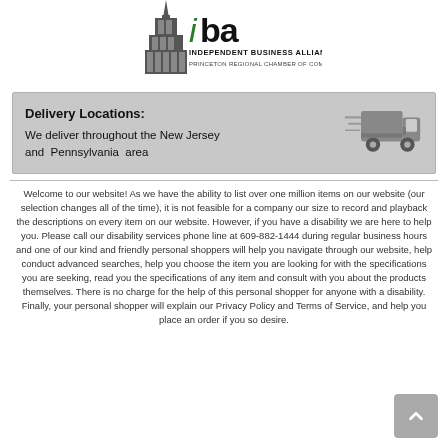[Figure (logo): IBA Independent Business Alliance Princeton Regional Chamber of Commerce logo with tower/building icon]
Delivery Locations:
We deliver throughout the New Jersey and Pennsylvania area
[Figure (illustration): Gray delivery truck icon moving to the right with speed lines]
Welcome to our website! As we have the ability to list over one million items on our website (our selection changes all of the time), it is not feasible for a company our size to record and playback the descriptions on every item on our website. However, if you have a disability we are here to help you. Please call our disability services phone line at 609-882-1444 during regular business hours and one of our kind and friendly personal shoppers will help you navigate through our website, help conduct advanced searches, help you choose the item you are looking for with the specifications you are seeking, read you the specifications of any item and consult with you about the products themselves. There is no charge for the help of this personal shopper for anyone with a disability. Finally, your personal shopper will explain our Privacy Policy and Terms of Service, and help you place an order if you so desire.